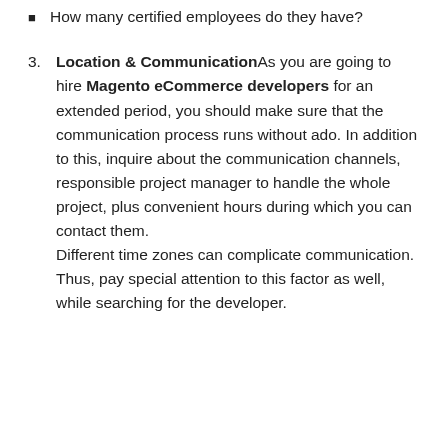How many certified employees do they have?
Location & Communication As you are going to hire Magento eCommerce developers for an extended period, you should make sure that the communication process runs without ado. In addition to this, inquire about the communication channels, responsible project manager to handle the whole project, plus convenient hours during which you can contact them. Different time zones can complicate communication. Thus, pay special attention to this factor as well, while searching for the developer.